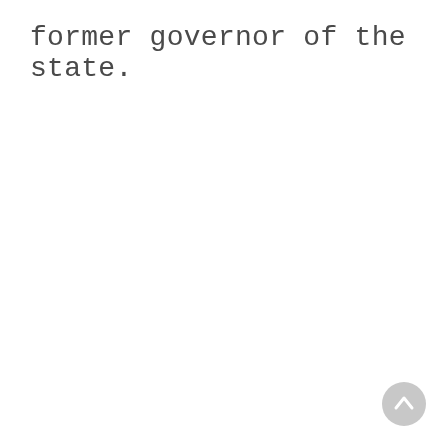former governor of the state.
[Figure (other): Circular scroll-to-top button with upward arrow, light gray background]